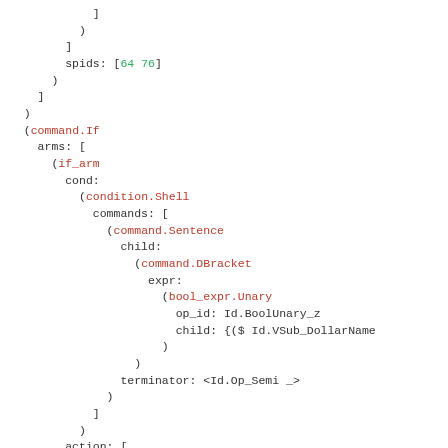Code listing showing AST structure with command.If, condition.Shell, command.Sentence, command.DBracket, bool_expr.Unary nodes